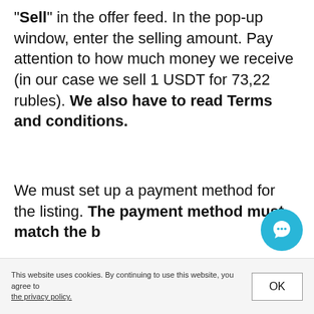"Sell" in the offer feed. In the pop-up window, enter the selling amount. Pay attention to how much money we receive (in our case we sell 1 USDT for 73,22 rubles). We also have to read Terms and conditions.
We must set up a payment method for the listing. The payment method must match the b[uyer's] payment method. Click on "Payment method" and...
This website uses cookies. By continuing to use this website, you agree to the privacy policy.